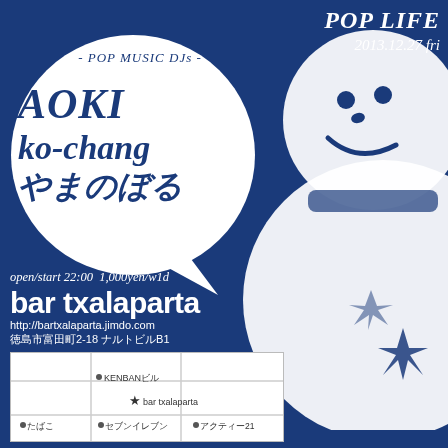POP LIFE 2013.12.27 fri
[Figure (illustration): White snowman silhouette with smile and star, decorative illustration on right side of flyer]
[Figure (illustration): White speech bubble shape containing DJ names on left side]
- POP MUSIC DJs -
AOKI
ko-chang
やまのぼる
open/start 22:00  1,000yen/w1d
bar txalaparta
http://bartxalaparta.jimdo.com
徳島市富田町2-18 ナルトビルB1
[Figure (map): Simple street map showing location of bar txalaparta with landmarks KENBANビル, セブンイレブン, アクティー21, たばこ]